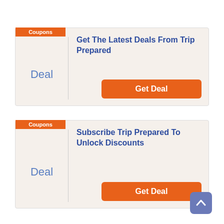Coupons
Deal
Get The Latest Deals From Trip Prepared
Get Deal
Coupons
Deal
Subscribe Trip Prepared To Unlock Discounts
Get Deal